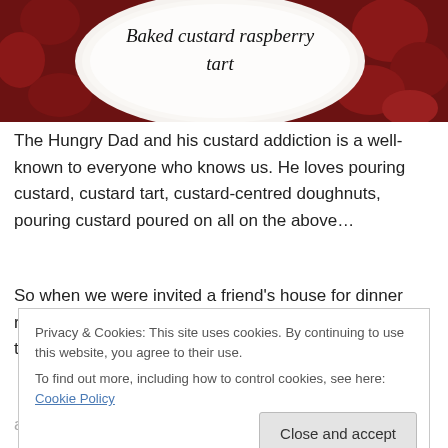[Figure (photo): Photo of a white plate/bowl on a dark red decorative background with text 'Baked custard raspberry tart' written on the plate in italic font.]
Baked custard raspberry tart
The Hungry Dad and his custard addiction is a well-known to everyone who knows us. He loves pouring custard, custard tart, custard-centred doughnuts, pouring custard poured on all on the above…
So when we were invited a friend's house for dinner recently I decided to experiment with a baked custard tart
Privacy & Cookies: This site uses cookies. By continuing to use this website, you agree to their use.
To find out more, including how to control cookies, see here: Cookie Policy
Close and accept
as they are much cheaper than the fresh variety. I always